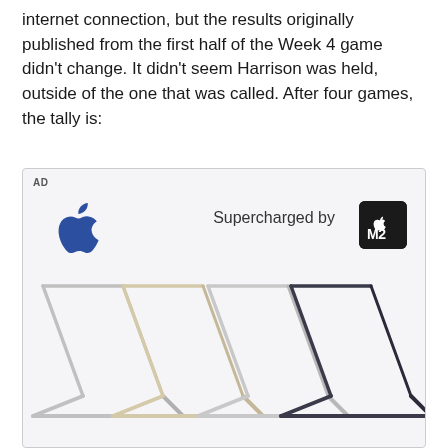internet connection, but the results originally published from the first half of the Week 4 game didn't change. It didn't seem Harrison was held, outside of the one that was called. After four games, the tally is:
[Figure (photo): Apple advertisement showing MacBook Air laptops in multiple colors (silver, starlight, midnight) arranged diagonally with Apple logo, 'Supercharged by' text, and M2 chip logo on a light gray background. AD label in top left corner.]